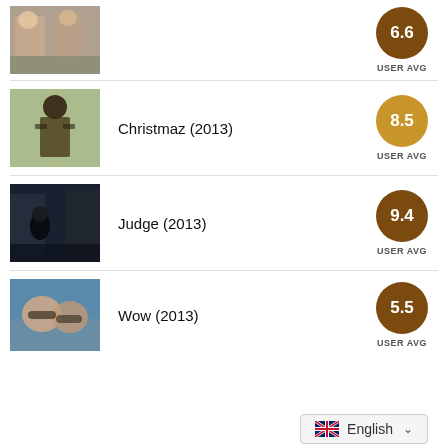[Figure (photo): Thumbnail of two people outdoors, one holding something]
6.6
USER AVG
[Figure (photo): Thumbnail of a dark figure in a hallway, horror scene]
Christmaz (2013)
8.5
USER AVG
[Figure (photo): Thumbnail of a silhouette against a dark background]
Judge (2013)
9.4
USER AVG
[Figure (photo): Thumbnail of two people with sunglasses outdoors]
Wow (2013)
5.5
USER AVG
English